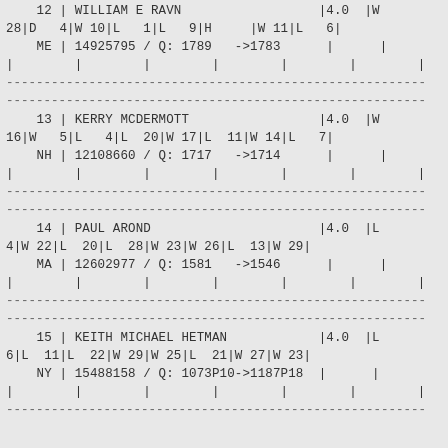12 | WILLIAM E RAVN                           |4.0  |W 28|D   4|W 10|L   1|L   9|H     |W 11|L   6|    ME | 14925795 / Q: 1789   ->1783      |      |
13 | KERRY MCDERMOTT                          |4.0  |W 16|W   5|L   4|L  20|W 17|L  11|W 14|L   7|    NH | 12108660 / Q: 1717   ->1714      |      |
14 | PAUL AROND                               |4.0  |L  4|W 22|L  20|L  28|W 23|W 26|L  13|W 29|    MA | 12602977 / Q: 1581   ->1546      |      |
15 | KEITH MICHAEL HETMAN                     |4.0  |L  6|L  11|L  22|W 29|W 25|L  21|W 27|W 23|    NY | 15488158 / Q: 1073P10->1187P18  |      |